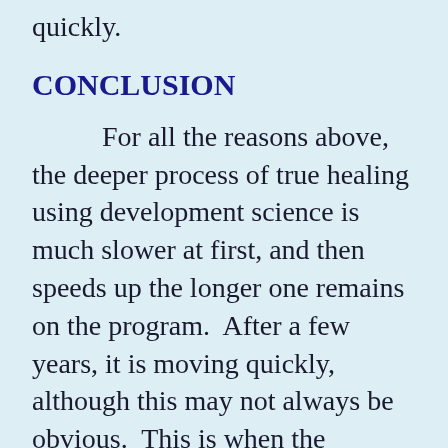quickly.
CONCLUSION
For all the reasons above, the deeper process of true healing using development science is much slower at first, and then speeds up the longer one remains on the program.  After a few years, it is moving quickly, although this may not always be obvious.  This is when the program becomes more fun, because the benefits become more